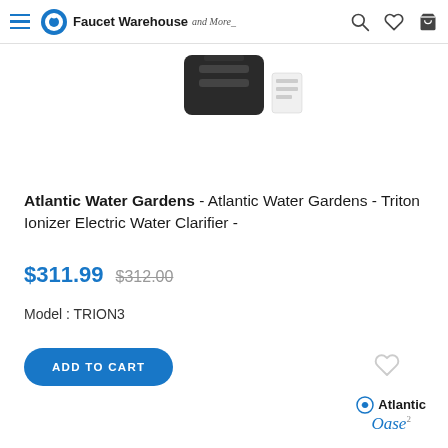Faucet Warehouse and More
[Figure (photo): Partial product image of Atlantic Water Gardens Triton Ionizer Electric Water Clarifier, cropped at top of page]
Atlantic Water Gardens - Atlantic Water Gardens - Triton Ionizer Electric Water Clarifier -
$311.99  $312.00
Model : TRION3
ADD TO CART
[Figure (logo): Atlantic Oase brand logo, bottom right]